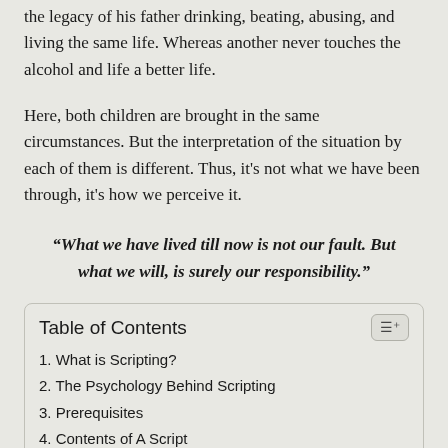the legacy of his father drinking, beating, abusing, and living the same life. Whereas another never touches the alcohol and life a better life.
Here, both children are brought in the same circumstances. But the interpretation of the situation by each of them is different. Thus, it's not what we have been through, it's how we perceive it.
“What we have lived till now is not our fault. But what we will, is surely our responsibility.”
| Table of Contents |
| --- |
| 1. What is Scripting? |
| 2. The Psychology Behind Scripting |
| 3. Prerequisites |
| 4. Contents of A Script |
| 5. What To Do After Scripting? |